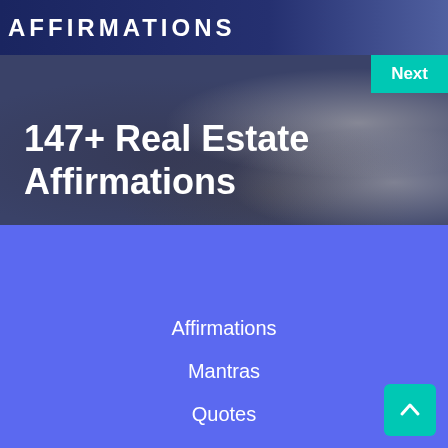[Figure (photo): Hero banner image showing real estate theme: person holding house keys, miniature house model, laptop keyboard, dark blue overlay background with 'AFFIRMATIONS' text at top. Teal 'Next' button in top-right corner.]
147+ Real Estate Affirmations
Affirmations
Mantras
Quotes